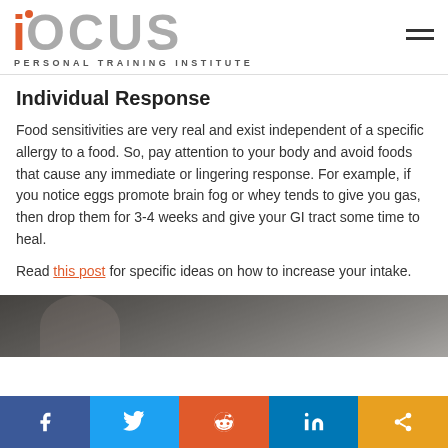FOCUS PERSONAL TRAINING INSTITUTE
Individual Response
Food sensitivities are very real and exist independent of a specific allergy to a food. So, pay attention to your body and avoid foods that cause any immediate or lingering response. For example, if you notice eggs promote brain fog or whey tends to give you gas, then drop them for 3-4 weeks and give your GI tract some time to heal.
Read this post for specific ideas on how to increase your intake.
[Figure (photo): Photo of a person exercising, partially visible, gym background]
Social share bar: Facebook, Twitter, Reddit, LinkedIn, Share